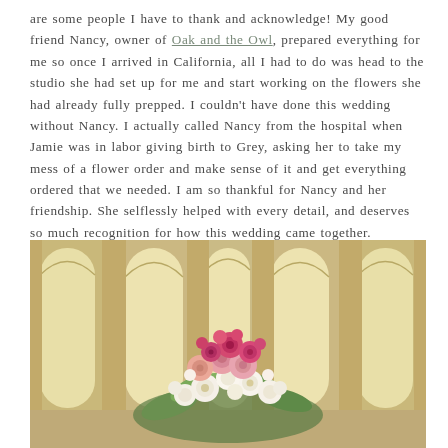are some people I have to thank and acknowledge! My good friend Nancy, owner of Oak and the Owl, prepared everything for me so once I arrived in California, all I had to do was head to the studio she had set up for me and start working on the flowers she had already fully prepped. I couldn't have done this wedding without Nancy. I actually called Nancy from the hospital when Jamie was in labor giving birth to Grey, asking her to take my mess of a flower order and make sense of it and get everything ordered that we needed. I am so thankful for Nancy and her friendship. She selflessly helped with every detail, and deserves so much recognition for how this wedding came together.
[Figure (photo): A floral centerpiece with pink, coral, and cream flowers arranged in a lush bouquet, set inside an ornate venue with tall arched windows and golden/ivory columns visible in the background.]